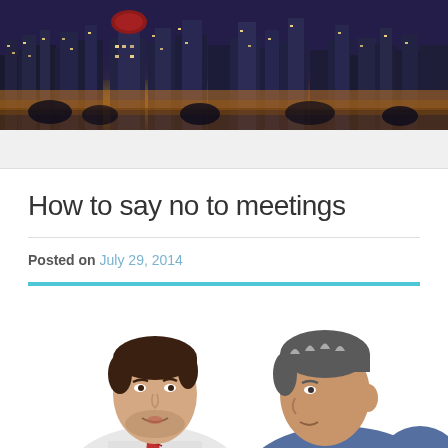[Figure (photo): Night cityscape banner showing illuminated city skyline with dark purple sky and golden building lights]
How to say no to meetings
Posted on July 29, 2014
[Figure (photo): Two men facing each other in conversation; the man on the left wears a white shirt and red tie, the man on the right wears a blue shirt and has grey-streaked hair]